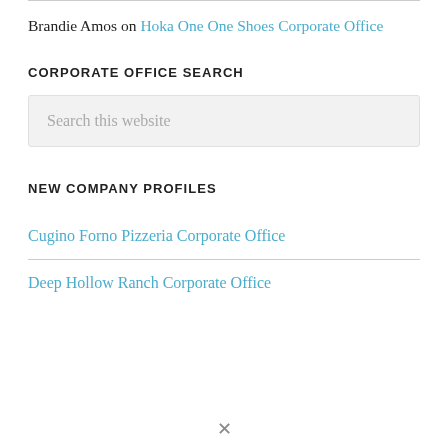Brandie Amos on Hoka One One Shoes Corporate Office
CORPORATE OFFICE SEARCH
Search this website
NEW COMPANY PROFILES
Cugino Forno Pizzeria Corporate Office
Deep Hollow Ranch Corporate Office